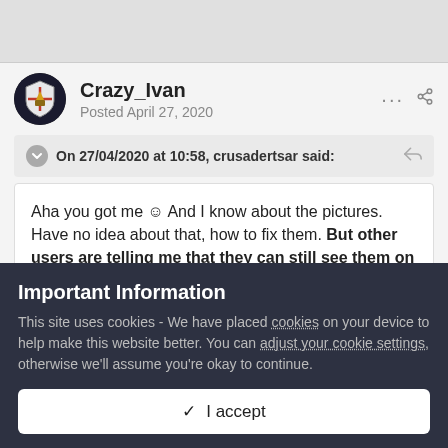Crazy_Ivan
Posted April 27, 2020
On 27/04/2020 at 10:58, crusadertsar said:
Aha you got me ☺ And I know about the pictures. Have no idea about that, how to fix them. But other users are telling me that they can still see them on the dictatethegame blog. It's really weird.
Important Information
This site uses cookies - We have placed cookies on your device to help make this website better. You can adjust your cookie settings, otherwise we’ll assume you’re okay to continue.
✓  I accept